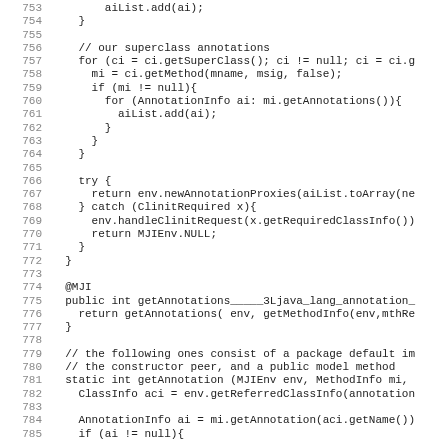Code listing lines 753-785, Java source code showing annotation handling methods
[Figure (screenshot): Java source code listing with line numbers 753-785, showing annotation retrieval methods including loop over superclass annotations, try/catch block, and static method signatures]